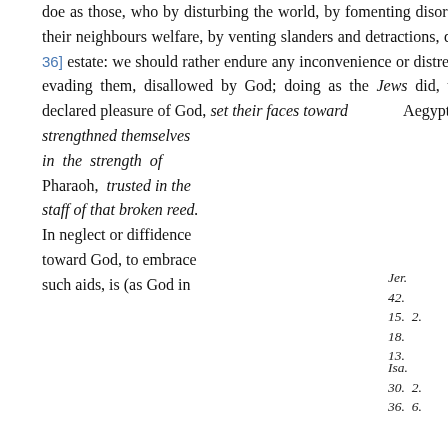doe as those, who by disturbing the world, by fomenting disorders and factions, by supplanting their neighbours welfare, by venting slanders and detractions, do labour to amplifie their [Page 36] estate: we should rather endure any inconvenience or distress, than have recourse to ways of evading them, disallowed by God; doing as the Jews did, who in their straits, against the declared pleasure of God, set their faces toward Aegypt, strengthned themselves in the strength of Pharaoh, trusted in the staff of that broken reed. In neglect or diffidence toward God, to embrace such aids, is (as God in
Jer. 42. 15. 2. 18. 13.
Isa. 30. 2. 36. 6.